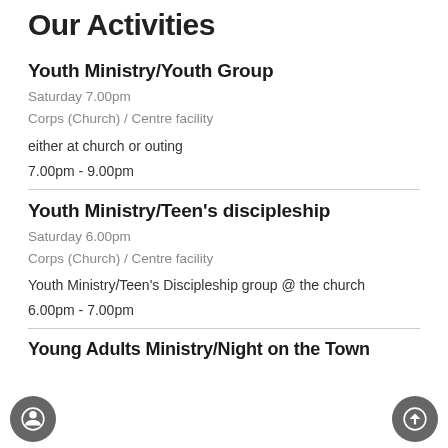Our Activities
Youth Ministry/Youth Group
Saturday 7.00pm
Corps (Church) / Centre facility
either at church or outing
7.00pm - 9.00pm
Youth Ministry/Teen's discipleship
Saturday 6.00pm
Corps (Church) / Centre facility
Youth Ministry/Teen's Discipleship group @ the church
6.00pm - 7.00pm
Young Adults Ministry/Night on the Town